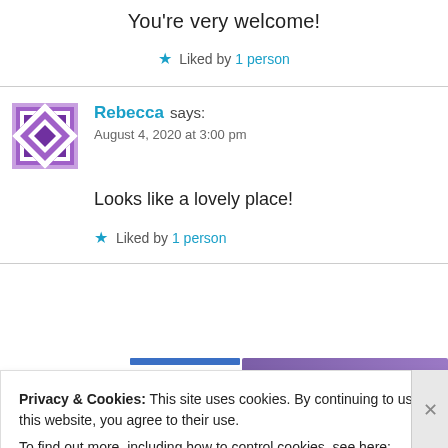You're very welcome!
★ Liked by 1 person
Rebecca says:
August 4, 2020 at 3:00 pm
Looks like a lovely place!
★ Liked by 1 person
Privacy & Cookies: This site uses cookies. By continuing to use this website, you agree to their use.
To find out more, including how to control cookies, see here: Cookie Policy
Close and accept